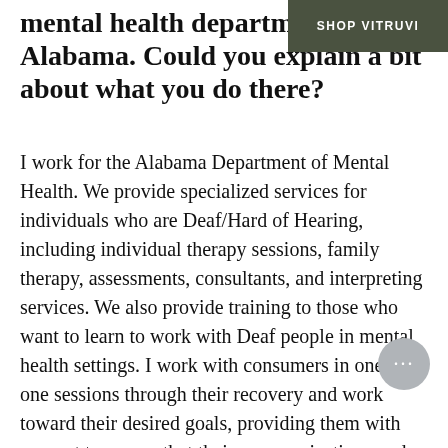mental health department for Alabama. Could you explain a bit about what you do there?
I work for the Alabama Department of Mental Health. We provide specialized services for individuals who are Deaf/Hard of Hearing, including individual therapy sessions, family therapy, assessments, consultants, and interpreting services. We also provide training to those who want to learn to work with Deaf people in mental health settings. I work with consumers in one-to-one sessions through their recovery and work toward their desired goals, providing them with support to ensure that their communication needs are being met when they are being served by non-signing providers and staff. I also work with local mental health community centres to ensure they provide culturally and linguistically appropriate services (CLAS) to